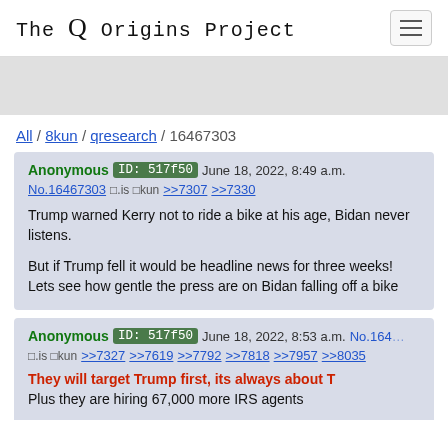The Q Origins Project
All / 8kun / qresearch / 16467303
Anonymous ID: 517f50 June 18, 2022, 8:49 a.m. No.16467303 □.is □kun >>7307 >>7330
Trump warned Kerry not to ride a bike at his age, Bidan never listens.

But if Trump fell it would be headline news for three weeks! Lets see how gentle the press are on Bidan falling off a bike
Anonymous ID: 517f50 June 18, 2022, 8:53 a.m. No.164... □.is □kun >>7327 >>7619 >>7792 >>7818 >>7957 >>8035
They will target Trump first, its always about T
Plus they are hiring 67,000 more IRS agents